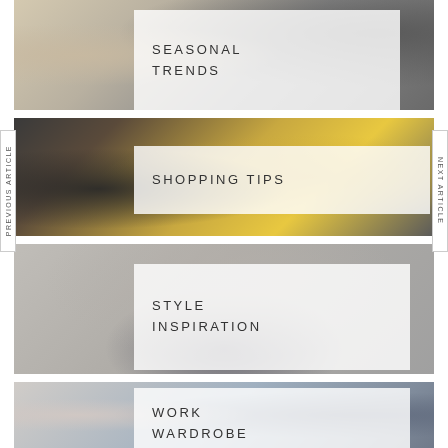[Figure (photo): Fashion photo showing clothing on mannequins, beige and patterned coats]
SEASONAL TRENDS
[Figure (photo): Shopping scene with woman browsing clothes on gold hangers in a clothing store]
SHOPPING TIPS
[Figure (photo): Style inspiration photo with person in muted grey background]
STYLE INSPIRATION
[Figure (photo): Work wardrobe photo with tailored clothing on mannequins]
WORK WARDROBE
PREVIOUS ARTICLE
NEXT ARTICLE